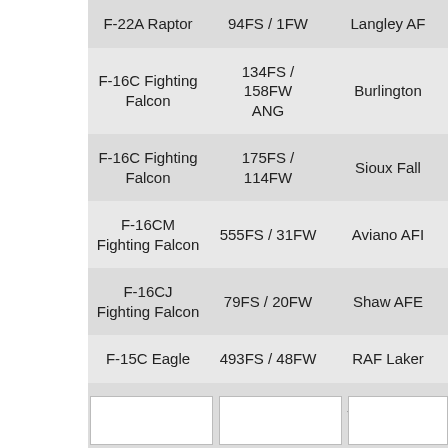| Aircraft | Unit | Base |
| --- | --- | --- |
| F-22A Raptor | 94FS / 1FW | Langley AFB |
| F-16C Fighting Falcon | 134FS / 158FW ANG | Burlington |
| F-16C Fighting Falcon | 175FS / 114FW | Sioux Falls |
| F-16CM Fighting Falcon | 555FS / 31FW | Aviano AFB |
| F-16CJ Fighting Falcon | 79FS / 20FW | Shaw AFB |
| F-15C Eagle | 493FS / 48FW | RAF Lakenheath |
| B-2A Spirit | 393BS / 509BW | Whiteman AFB |
| HC-130J Hercules | 79RS / 23Wg | Davis Monthan |
| HH-60G Pave Hawk | 66RS / 23Wg | Nellis AFB |